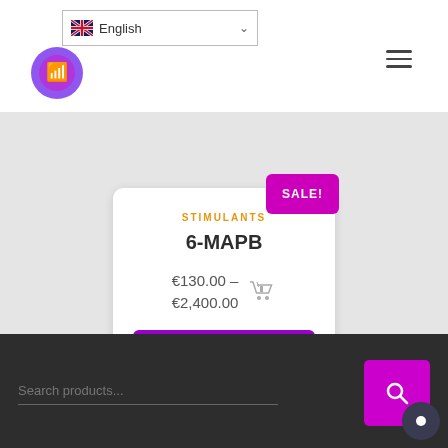English language selector and site logo with hamburger menu
STIMULANTS
6-MAPB
€130.00 – €2,400.00
QUICK VIEW
SALE!
Search products...